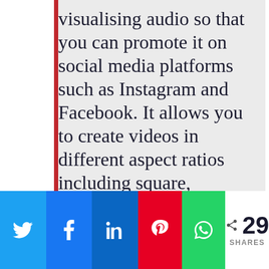Headliner is a way of visualising audio so that you can promote it on social media platforms such as Instagram and Facebook. It allows you to create videos in different aspect ratios including square, landscape and portrait.
CLICK TO TWEET
[Figure (infographic): Social sharing bar with Twitter, Facebook, LinkedIn, Pinterest, WhatsApp buttons and a share count of 29 SHARES]